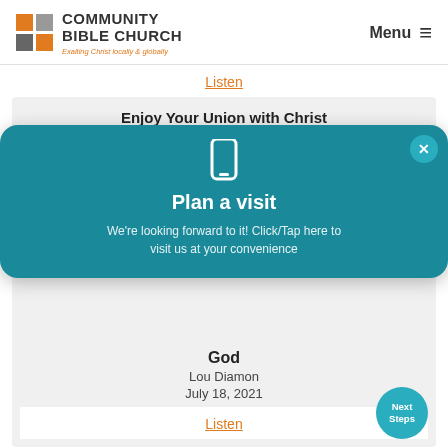[Figure (logo): Community Bible Church logo with orange and gray square grid icon and text 'COMMUNITY BIBLE CHURCH, Exalting Christ locally & globally']
Menu ≡
Listen
Enjoy Your Union with Christ
Todd Bolton
[Figure (infographic): Teal popup modal with close button (x), phone icon, bold text 'Plan a visit', and description text 'We're looking forward to it! Click/Tap here to visit us at your convenience']
God
Lou Diamon
July 18, 2021
Listen
Next Steps